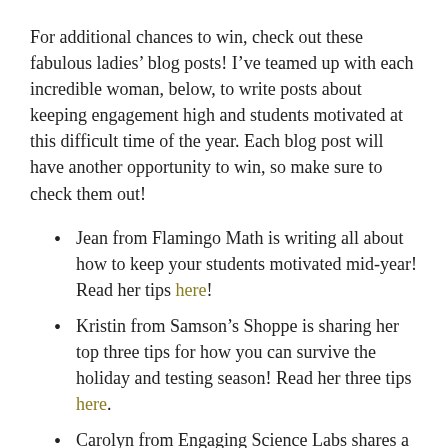For additional chances to win, check out these fabulous ladies' blog posts! I've teamed up with each incredible woman, below, to write posts about keeping engagement high and students motivated at this difficult time of the year. Each blog post will have another opportunity to win, so make sure to check them out!
Jean from Flamingo Math is writing all about how to keep your students motivated mid-year! Read her tips here!
Kristin from Samson's Shoppe is sharing her top three tips for how you can survive the holiday and testing season! Read her three tips here.
Carolyn from Engaging Science Labs shares a super hands-on activity for making a periodic table! As a math teacher, I got a bunch of ideas from per post about how I could apply it to my own classroom!